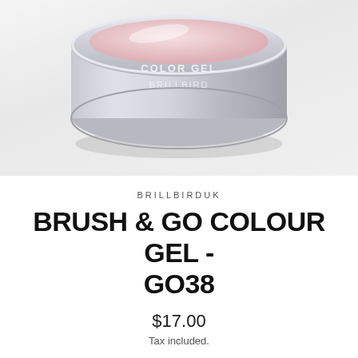[Figure (photo): Close-up photo of a round silver Color Gel tin/container with pink gel inside, showing the label 'COLOR GEL BRILLBIRD' on the side, on a white background.]
BRILLBIRDUK
BRUSH & GO COLOUR GEL - GO38
$17.00
Tax included.
QUANTITY
- 1 +